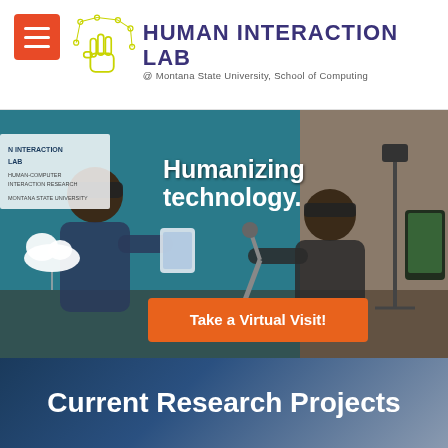[Figure (logo): Human Interaction Lab logo with stylized hand icon and text 'HUMAN INTERACTION LAB @ Montana State University, School of Computing', with a hamburger menu button in orange/red]
[Figure (photo): Two people wearing AR/VR headsets in a lab environment with teal walls. One holds a tablet, the other interacts with a robotic arm. Text overlay reads 'Humanizing technology.' and an orange CTA button reads 'Take a Virtual Visit!']
Current Research Projects